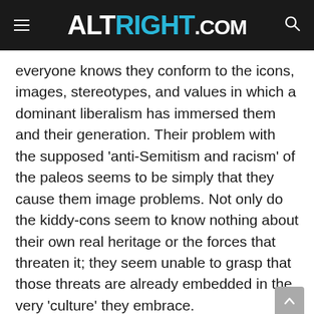ALTRIGHT.COM
everyone knows they conform to the icons, images, stereotypes, and values in which a dominant liberalism has immersed them and their generation. Their problem with the supposed ‘anti-Semitism and racism’ of the paleos seems to be simply that they cause them image problems. Not only do the kiddy-cons seem to know nothing about their own real heritage or the forces that threaten it; they seem unable to grasp that those threats are already embedded in the very ‘culture’ they embrace.